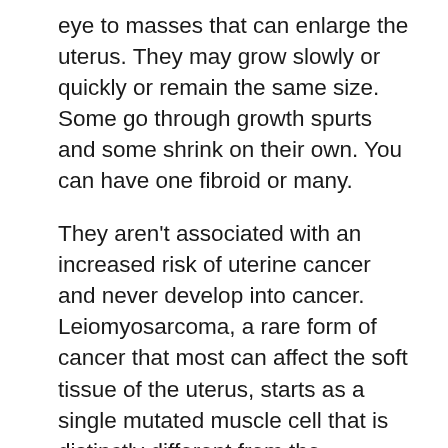eye to masses that can enlarge the uterus. They may grow slowly or quickly or remain the same size. Some go through growth spurts and some shrink on their own. You can have one fibroid or many.
They aren't associated with an increased risk of uterine cancer and never develop into cancer. Leiomyosarcoma, a rare form of cancer that most can affect the soft tissue of the uterus, starts as a single mutated muscle cell that is distinctly different from the mutations associated with fibroids. This type of cancer is not related to fibroids, though it may be discovered in fewer than one in 1,300 women who have fibroid symptoms serious